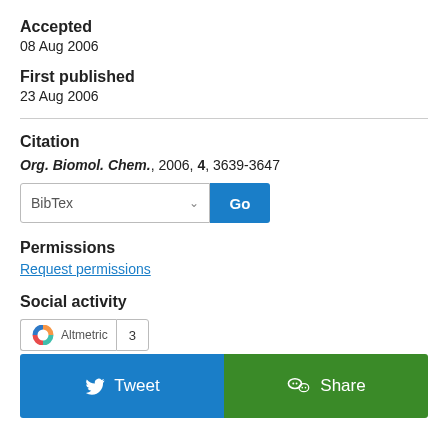Accepted
08 Aug 2006
First published
23 Aug 2006
Citation
Org. Biomol. Chem., 2006, 4, 3639-3647
Permissions
Request permissions
Social activity
[Figure (other): Altmetric badge showing score 3]
[Figure (other): Tweet and Share social buttons]